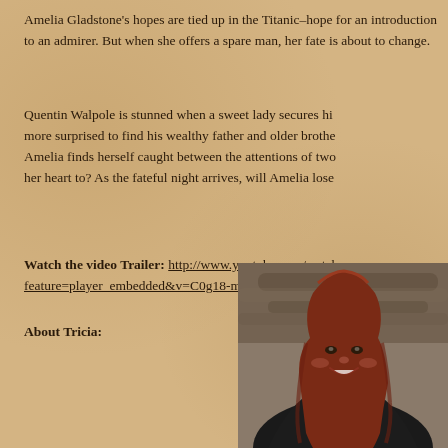Amelia Gladstone's hopes are tied up in the Titanic–hope for an introduction to an admirer. But when she offers a spare man, her fate is about to change.
Quentin Walpole is stunned when a sweet lady secures his more surprised to find his wealthy father and older brothe Amelia finds herself caught between the attentions of tw her heart to? As the fateful night arrives, will Amelia lose
Watch the video Trailer: http://www.youtube.com/watch feature=player_embedded&v=C0g18-m_qII
About Tricia:
[Figure (photo): Portrait photo of a woman with long red/auburn hair, smiling, wearing a dark jacket, photographed outdoors with a blurred background of logs or wood.]